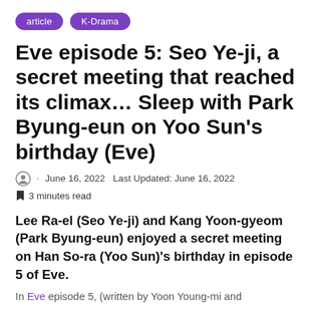article  K-Drama
Eve episode 5: Seo Ye-ji, a secret meeting that reached its climax… Sleep with Park Byung-eun on Yoo Sun's birthday (Eve)
June 16, 2022   Last Updated: June 16, 2022
3 minutes read
Lee Ra-el (Seo Ye-ji) and Kang Yoon-gyeom (Park Byung-eun) enjoyed a secret meeting on Han So-ra (Yoo Sun)'s birthday in episode 5 of Eve.
In Eve episode 5, (written by Yoon Young-mi and